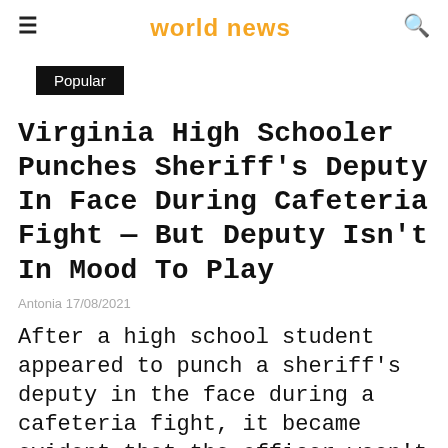≡  world news  🔍
Popular
Virginia High Schooler Punches Sheriff's Deputy In Face During Cafeteria Fight — But Deputy Isn't In Mood To Play
Antonia 17/08/2021
After a high school student appeared to punch a sheriff's deputy in the face during a cafeteria fight, it became evident that the officer wasn't in the